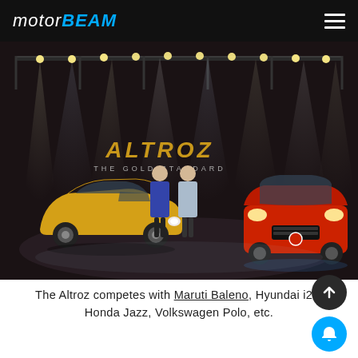MOTORBEAM
[Figure (photo): Tata Altroz launch event on a dramatic stage with spotlights. A gold/yellow Altroz hatchback is on the left with two presenters standing between it and a red Altroz on the right. The backdrop reads 'ALTROZ – THE GOLD STANDARD'.]
The Altroz competes with Maruti Baleno, Hyundai i20, Honda Jazz, Volkswagen Polo, etc.